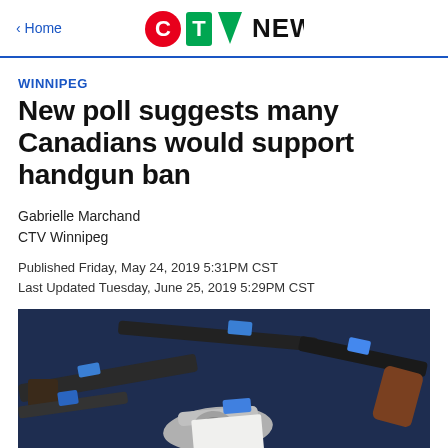CTV News
WINNIPEG
New poll suggests many Canadians would support handgun ban
Gabrielle Marchand
CTV Winnipeg
Published Friday, May 24, 2019 5:31PM CST
Last Updated Tuesday, June 25, 2019 5:29PM CST
[Figure (photo): Multiple handguns laid out on a dark blue surface, some wrapped with blue tape, including a silver revolver in the foreground.]